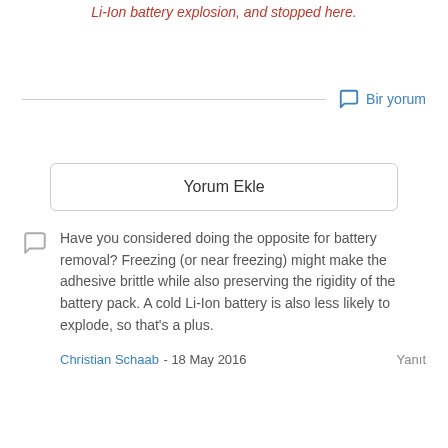Li-Ion battery explosion, and stopped here.
Bir yorum
Yorum Ekle
Have you considered doing the opposite for battery removal? Freezing (or near freezing) might make the adhesive brittle while also preserving the rigidity of the battery pack. A cold Li-Ion battery is also less likely to explode, so that's a plus.
Christian Schaab - 18 May 2016   Yanıt